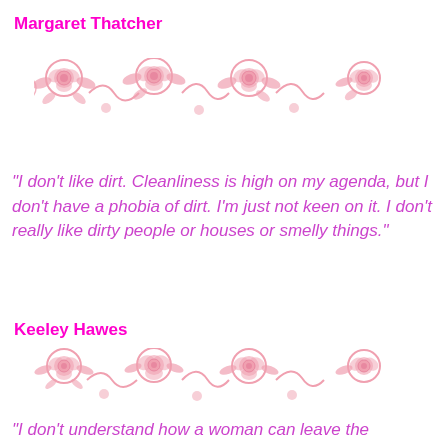Margaret Thatcher
[Figure (illustration): Decorative pink rose border divider]
"I don't like dirt. Cleanliness is high on my agenda, but I don't have a phobia of dirt. I'm just not keen on it. I don't really like dirty people or houses or smelly things."
Keeley Hawes
[Figure (illustration): Decorative pink rose border divider]
"I don't understand how a woman can leave the